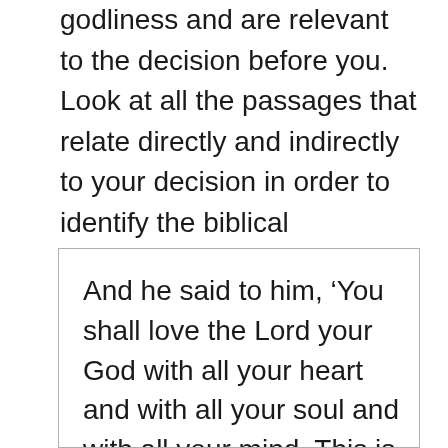godliness and are relevant to the decision before you. Look at all the passages that relate directly and indirectly to your decision in order to identify the biblical framework for making the decision. As a foundational starting point, consider Mathew 22:37-40:
And he said to him, ‘You shall love the Lord your God with all your heart and with all your soul and with all your mind. This is the great and first commandment. And a second is like it: You shall love